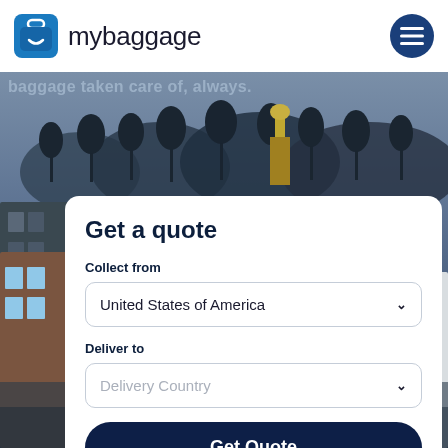mybaggage
[Figure (photo): Background photo of a coastal town with bare winter trees, brick buildings, and a domed building visible on a hill under a grey-blue sky.]
Get a quote
Collect from
United States of America
Deliver to
Delivery Country
Get Quote